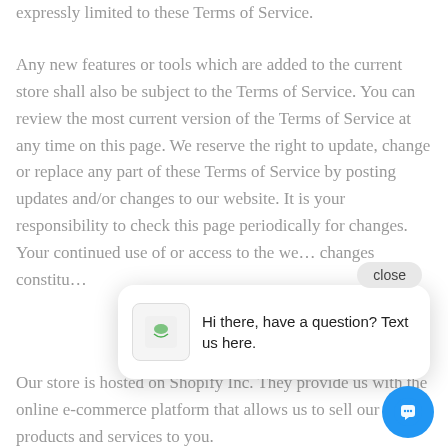expressly limited to these Terms of Service.
Any new features or tools which are added to the current store shall also be subject to the Terms of Service. You can review the most current version of the Terms of Service at any time on this page. We reserve the right to update, change or replace any part of these Terms of Service by posting updates and/or changes to our website. It is your responsibility to check this page periodically for changes. Your continued use of or access to the we… changes constitu…
Our store is hosted on Shopify Inc. They provide us with the online e-commerce platform that allows us to sell our products and services to you.